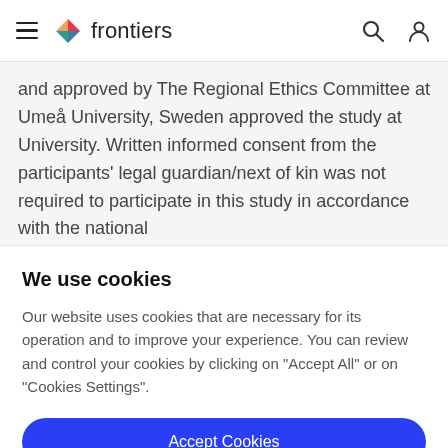frontiers
and approved by The Regional Ethics Committee at Umeå University, Sweden approved the study at University. Written informed consent from the participants' legal guardian/next of kin was not required to participate in this study in accordance with the national
We use cookies
Our website uses cookies that are necessary for its operation and to improve your experience. You can review and control your cookies by clicking on "Accept All" or on "Cookies Settings".
Accept Cookies
Cookies Settings